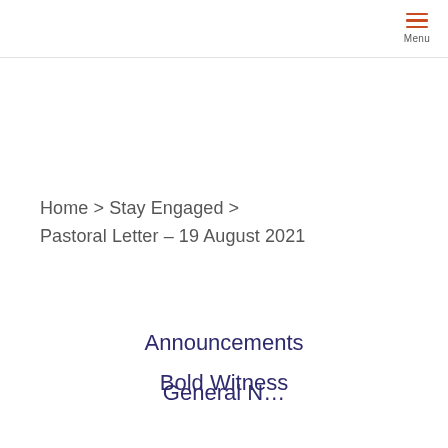Menu
Home > Stay Engaged > Pastoral Letter – 19 August 2021
Announcements
Bold Witness
General N…